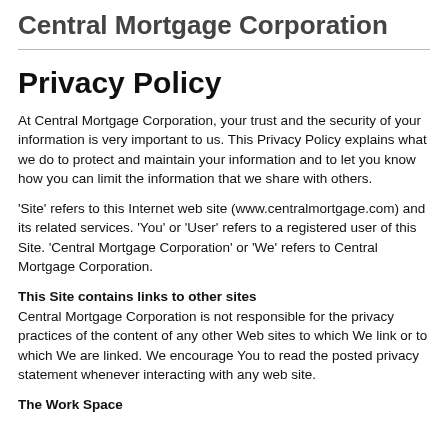Central Mortgage Corporation
Privacy Policy
At Central Mortgage Corporation, your trust and the security of your information is very important to us. This Privacy Policy explains what we do to protect and maintain your information and to let you know how you can limit the information that we share with others.
'Site' refers to this Internet web site (www.centralmortgage.com) and its related services. 'You' or 'User' refers to a registered user of this Site. 'Central Mortgage Corporation' or 'We' refers to Central Mortgage Corporation.
This Site contains links to other sites
Central Mortgage Corporation is not responsible for the privacy practices of the content of any other Web sites to which We link or to which We are linked. We encourage You to read the posted privacy statement whenever interacting with any web site.
The Work Space